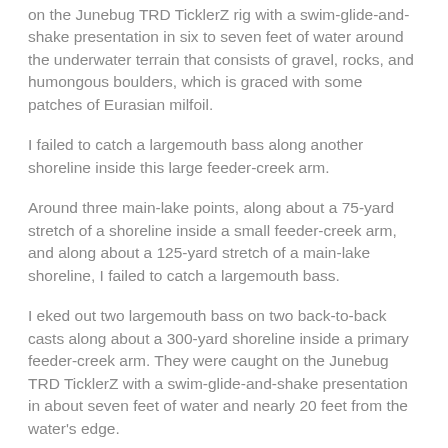on the Junebug TRD TicklerZ rig with a swim-glide-and-shake presentation in six to seven feet of water around the underwater terrain that consists of gravel, rocks, and humongous boulders, which is graced with some patches of Eurasian milfoil.
I failed to catch a largemouth bass along another shoreline inside this large feeder-creek arm.
Around three main-lake points, along about a 75-yard stretch of a shoreline inside a small feeder-creek arm, and along about a 125-yard stretch of a main-lake shoreline, I failed to catch a largemouth bass.
I eked out two largemouth bass on two back-to-back casts along about a 300-yard shoreline inside a primary feeder-creek arm. They were caught on the Junebug TRD TicklerZ with a swim-glide-and-shake presentation in about seven feet of water and nearly 20 feet from the water's edge.